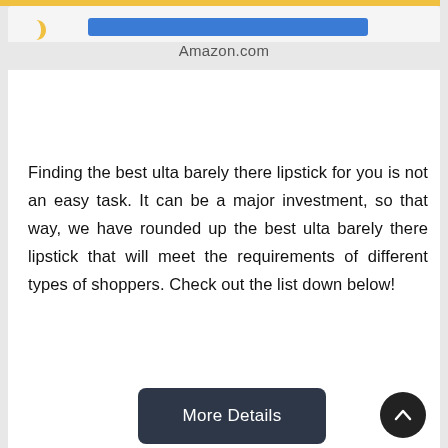Amazon.com
Finding the best ulta barely there lipstick for you is not an easy task. It can be a major investment, so that way, we have rounded up the best ulta barely there lipstick that will meet the requirements of different types of shoppers. Check out the list down below!
[Figure (screenshot): A dark rounded button labeled 'More Details']
[Figure (photo): Two nude/pink lipstick bullet tips shown from above, partially cropped at the bottom of the page]